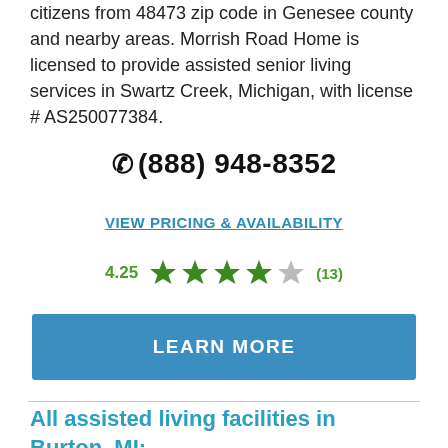citizens from 48473 zip code in Genesee county and nearby areas. Morrish Road Home is licensed to provide assisted senior living services in Swartz Creek, Michigan, with license # AS250077384.
(888) 948-8352
VIEW PRICING & AVAILABILITY
4.25 ★★★★☆ (13)
LEARN MORE
All assisted living facilities in Burton, MI: